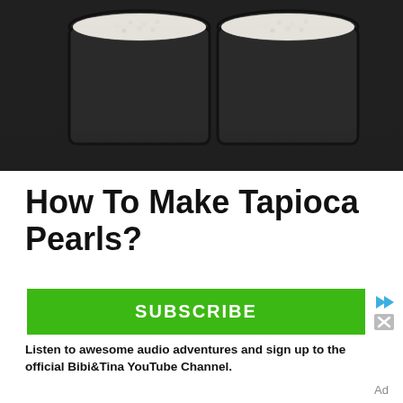[Figure (photo): Two dark cups/bowls filled with white tapioca pearls or starch, photographed from above on a dark textured background.]
How To Make Tapioca Pearls?
The primary method of preparing tapioca pearls is to boil the ingredients until soft. Hen, the ingredients are mixed together. Then, mango puree and tapioca...
[Figure (infographic): Advertisement banner with green SUBSCRIBE button and ad controls (forward/close icons), followed by bold text: Listen to awesome audio adventures and sign up to the official Bibi&Tina YouTube Channel.]